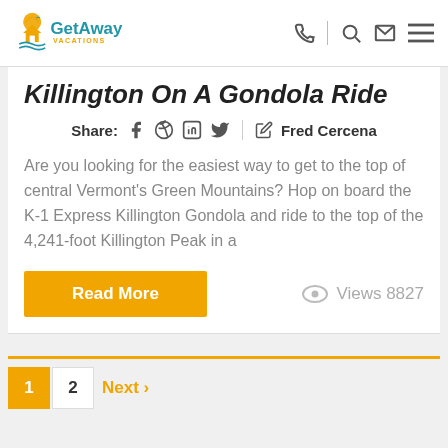GetAway Vacations
Killington On A Gondola Ride
Share: [social icons] Fred Cercena
Are you looking for the easiest way to get to the top of central Vermont's Green Mountains? Hop on board the K-1 Express Killington Gondola and ride to the top of the 4,241-foot Killington Peak in a
Read More   Views 8827
1  2  Next ›